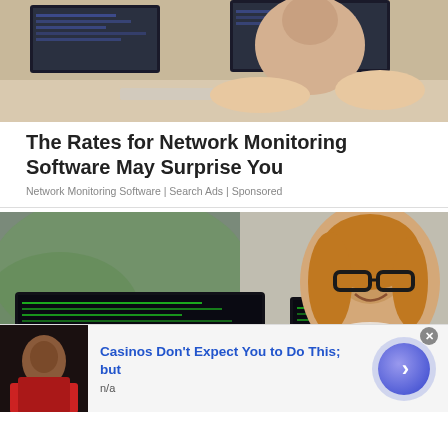[Figure (photo): Woman working at multiple computer monitors in an office setting, viewed from behind/side]
The Rates for Network Monitoring Software May Surprise You
Network Monitoring Software | Search Ads | Sponsored
[Figure (photo): Smiling woman with glasses sitting in front of multiple dark monitors showing code/terminal output]
[Figure (photo): Advertisement banner: Casinos Don't Expect You to Do This; but — n/a — with thumbnail of person and blue arrow button]